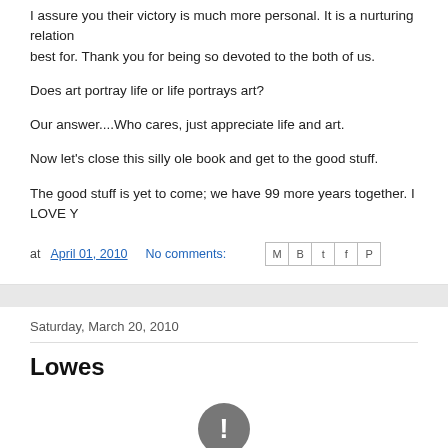I assure you their victory is much more personal. It is a nurturing relation best for. Thank you for being so devoted to the both of us.
Does art portray life or life portrays art?
Our answer....Who cares, just appreciate life and art.
Now let's close this silly ole book and get to the good stuff.
The good stuff is yet to come; we have 99 more years together. I LOVE Y
at April 01, 2010   No comments:
Saturday, March 20, 2010
Lowes
[Figure (other): Video unavailable icon - a gray circle with an exclamation mark, followed by text 'Video is unavailable']